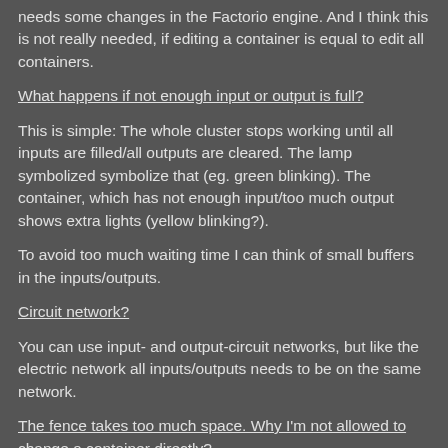needs some changes in the Factorio engine. And I think this is not really needed, if editing a container is equal to edit all containers.
What happens if not enough input or output is full?
This is simple: The whole cluster stops working until all inputs are filled/all outputs are cleared. The lamp symbolized symbolize that (eg. green blinking). The container, which has not enough input/too much output shows extra lights (yellow blinking?).
To avoid too much waiting time I can think of small buffers in the inputs/outputs.
Circuit network?
You can use input- and output-circuit networks, but like the electric network all inputs/outputs needs to be on the same network.
The fence takes too much space. Why I'm not allowed to change a container directly?
I didn't say that the fence needs an extra tile more space. This is implementation detail.